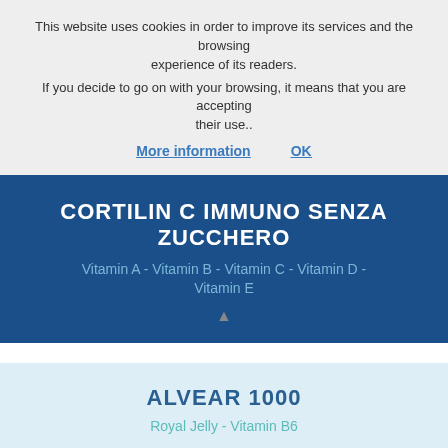This website uses cookies in order to improve its services and the browsing experience of its readers. If you decide to go on with your browsing, it means that you are accepting their use..
More information   OK
CORTILIN C IMMUNO SENZA ZUCCHERO
Vitamin A - Vitamin B - Vitamin C - Vitamin D - Vitamin E
ALVEAR 1000
Royal Jelly - Vitamin B6
ALVEAR GINSENG
Royal Jelly - Vitamin B6 - Ginseng - Rhodiola -